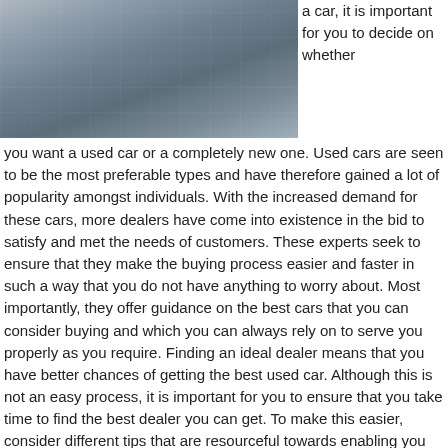[Figure (photo): Aerial view of a parking lot with cars, buses, and vehicles on a road]
a car, it is important for you to decide on whether you want a used car or a completely new one. Used cars are seen to be the most preferable types and have therefore gained a lot of popularity amongst individuals. With the increased demand for these cars, more dealers have come into existence in the bid to satisfy and met the needs of customers. These experts seek to ensure that they make the buying process easier and faster in such a way that you do not have anything to worry about. Most importantly, they offer guidance on the best cars that you can consider buying and which you can always rely on to serve you properly as you require. Finding an ideal dealer means that you have better chances of getting the best used car. Although this is not an easy process, it is important for you to ensure that you take time to find the best dealer you can get. To make this easier, consider different tips that are resourceful towards enabling you locate an ideal used car dealer.